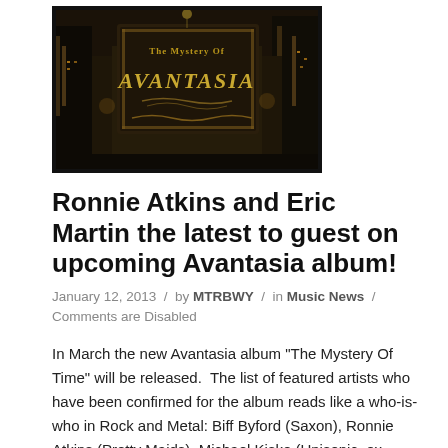[Figure (photo): Album artwork for Avantasia 'The Mystery Of Time' — dark cityscape with ornate metallic lettering reading 'Avantasia', dramatic urban architecture at night with golden lights]
Ronnie Atkins and Eric Martin the latest to guest on upcoming Avantasia album!
January 12, 2013 / by MTRBWY / in Music News / Comments are Disabled
In March the new Avantasia album "The Mystery Of Time" will be released.  The list of featured artists who have been confirmed for the album reads like a who-is-who in Rock and Metal: Biff Byford (Saxon), Ronnie Atkins (Pretty Maids), Michael Kiske (Unisonic, ex-Helloween), Arjen Lucassen (Ayreon, ex-Vengeance), Bruce Kulick (GFR, ex-Meat Loaf, ex-Kiss) have been confirmed so far.